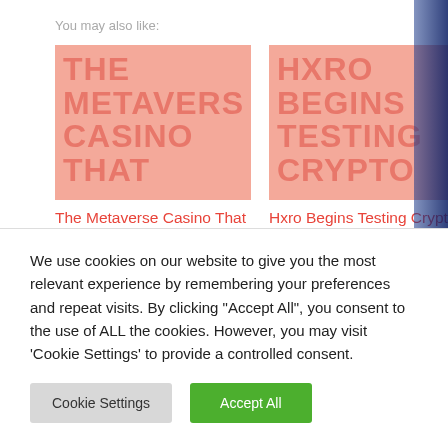You may also like:
[Figure (screenshot): Article thumbnail for 'The Metaverse Casino That Wasn't' — salmon/pink background with large faded uppercase text 'THE METAVERSE CASINO THAT']
The Metaverse Casino That Wasn't
[Figure (screenshot): Article thumbnail for 'Hxro Begins Testing Crypto Derivatives Trading Platform on Solana' — salmon/pink background with large faded uppercase text 'HXRO BEGINS TESTING CRYPTO']
Hxro Begins Testing Crypto Derivatives Trading Platform on Solana
We use cookies on our website to give you the most relevant experience by remembering your preferences and repeat visits. By clicking "Accept All", you consent to the use of ALL the cookies. However, you may visit 'Cookie Settings' to provide a controlled consent.